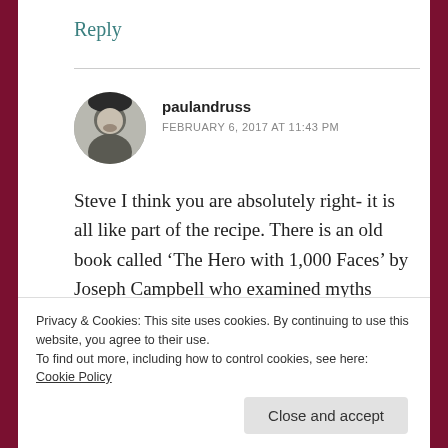Reply
[Figure (photo): Circular avatar photo of a man wearing a black hoodie outdoors, black and white photo]
paulandruss
FEBRUARY 6, 2017 AT 11:43 PM
Steve I think you are absolutely right- it is all like part of the recipe. There is an old book called ‘The Hero with 1,000 Faces’ by Joseph Campbell who examined myths going back to
Privacy & Cookies: This site uses cookies. By continuing to use this website, you agree to their use.
To find out more, including how to control cookies, see here: Cookie Policy
Close and accept